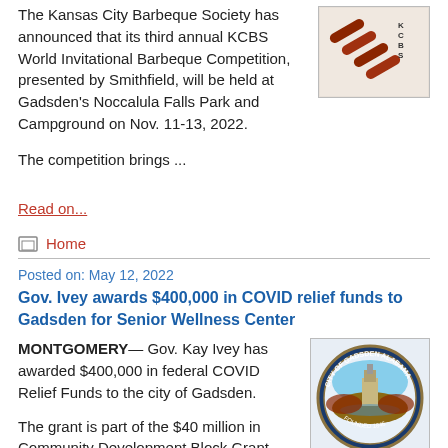The Kansas City Barbeque Society has announced that its third annual KCBS World Invitational Barbeque Competition, presented by Smithfield, will be held at Gadsden's Noccalula Falls Park and Campground on Nov. 11-13, 2022.
[Figure (photo): Photo of barbeque ribs with KCBS logo]
The competition brings ...
Read on...
Home
Posted on: May 12, 2022
Gov. Ivey awards $400,000 in COVID relief funds to Gadsden for Senior Wellness Center
MONTGOMERY— Gov. Kay Ivey has awarded $400,000 in federal COVID Relief Funds to the city of Gadsden.
[Figure (logo): City of Gadsden Alabama official seal/logo]
The grant is part of the $40 million in Community Development Block Grant...